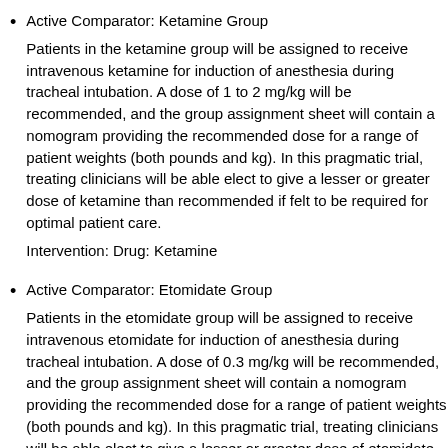Active Comparator: Ketamine Group
Patients in the ketamine group will be assigned to receive intravenous ketamine for induction of anesthesia during tracheal intubation. A dose of 1 to 2 mg/kg will be recommended, and the group assignment sheet will contain a nomogram providing the recommended dose for a range of patient weights (both pounds and kg). In this pragmatic trial, treating clinicians will be able elect to give a lesser or greater dose of ketamine than recommended if felt to be required for optimal patient care.
Intervention: Drug: Ketamine
Active Comparator: Etomidate Group
Patients in the etomidate group will be assigned to receive intravenous etomidate for induction of anesthesia during tracheal intubation. A dose of 0.3 mg/kg will be recommended, and the group assignment sheet will contain a nomogram providing the recommended dose for a range of patient weights (both pounds and kg). In this pragmatic trial, treating clinicians will be able elect to give a lesser or greater dose of etomidate than recommended if felt to be required for optimal patient care.
Intervention: Drug: Etomidate